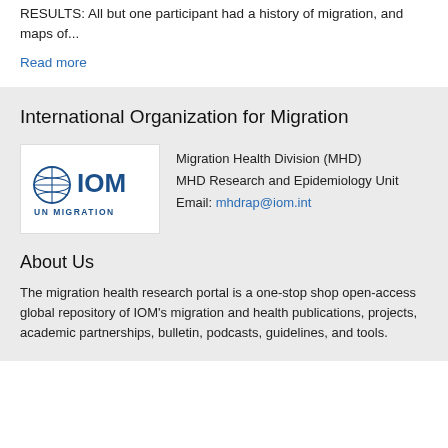RESULTS: All but one participant had a history of migration, and maps of...
Read more
International Organization for Migration
[Figure (logo): IOM UN Migration logo — globe icon with 'IOM' in blue text and 'UN MIGRATION' below]
Migration Health Division (MHD)
MHD Research and Epidemiology Unit
Email: mhdrap@iom.int
About Us
The migration health research portal is a one-stop shop open-access global repository of IOM's migration and health publications, projects, academic partnerships, bulletin, podcasts, guidelines, and tools.